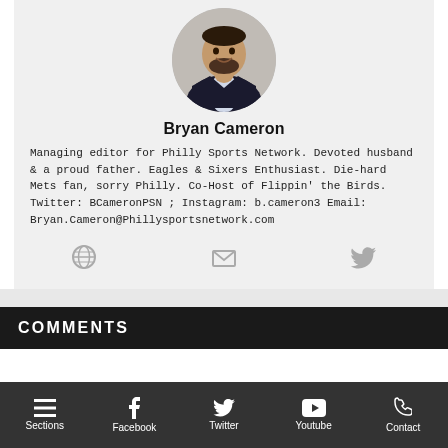[Figure (photo): Circular headshot of Bryan Cameron, a man in a dark suit smiling]
Bryan Cameron
Managing editor for Philly Sports Network. Devoted husband & a proud father. Eagles & Sixers Enthusiast. Die-hard Mets fan, sorry Philly. Co-Host of Flippin' the Birds. Twitter: BCameronPSN ; Instagram: b.cameron3 Email: Bryan.Cameron@Phillysportsnetwork.com
[Figure (infographic): Three social icons: globe, envelope, and Twitter bird]
COMMENTS
Sections  Facebook  Twitter  Youtube  Contact